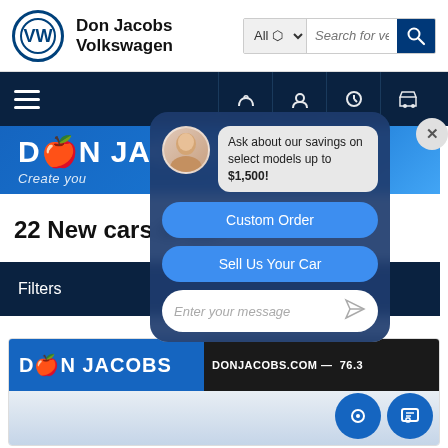[Figure (screenshot): Don Jacobs Volkswagen dealership website screenshot showing the VW logo, dealer name, search bar, navigation, brand bar, inventory listing, filters, chat overlay with avatar and savings message, Custom Order and Sell Us Your Car buttons, message input, and dealer card at bottom.]
Don Jacobs Volkswagen
All  Search for ve
D►N JACO  Create you
Ask about our savings on select models up to $1,500!
22 New cars in Le
Custom Order
Sell Us Your Car
Filters
Enter your message
D►N JACOBS   DONJACOBS.COM —  76.3